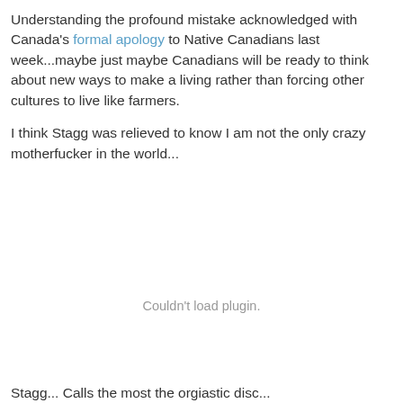Understanding the profound mistake acknowledged with Canada's formal apology to Native Canadians last week...maybe just maybe Canadians will be ready to think about new ways to make a living rather than forcing other cultures to live like farmers.
I think Stagg was relieved to know I am not the only crazy motherfucker in the world...
Couldn't load plugin.
Stagg... Calls the most the orgiastic disc...